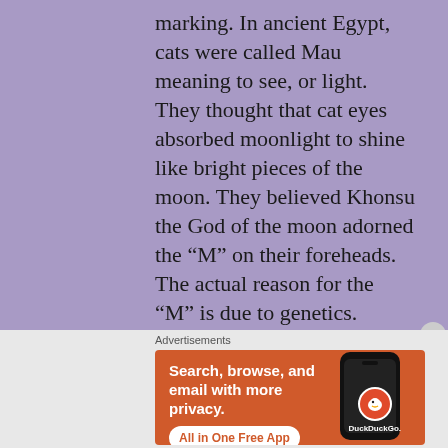marking. In ancient Egypt, cats were called Mau meaning to see, or light. They thought that cat eyes absorbed moonlight to shine like bright pieces of the moon. They believed Khonsu the God of the moon adorned the “M” on their foreheads. The actual reason for the “M” is due to genetics.

The tabby pattern works as
[Figure (screenshot): DuckDuckGo advertisement banner with orange background showing text 'Search, browse, and email with more privacy. All in One Free App' and a phone graphic with DuckDuckGo logo]